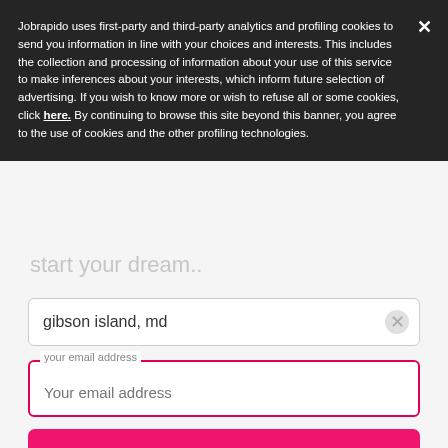Jobrapido uses first-party and third-party analytics and profiling cookies to send you information in line with your choices and interests. This includes the collection and processing of information about your use of this service to make inferences about your interests, which inform future selection of advertising. If you wish to know more or wish to refuse all or some cookies, click here. By continuing to browse this site beyond this banner, you agree to the use of cookies and the other profiling technologies.
gibson island, md
your email address
Your email address
START NOW
By clicking on the Start now button, you subscribe to our Job Alert and acknowledge the Privacy Policy, Terms of service and the Notice on the semantic analysis and processing of your search keywords as well as of the jobs that you click and apply for.This site is protected by reCAPTCHA and the Google Privacy Policy and Terms of Service apply.